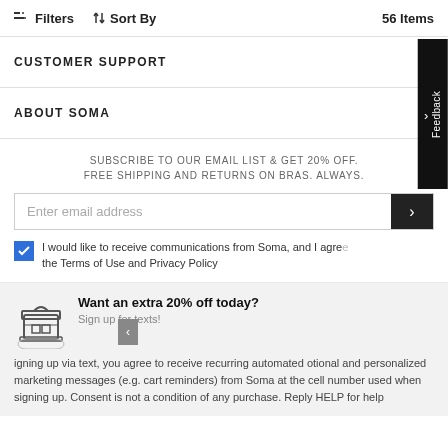Filters  ↕ Sort By  56 Items
CUSTOMER SUPPORT
ABOUT SOMA
SUBSCRIBE TO OUR EMAIL LIST & GET 20% OFF. FREE SHIPPING AND RETURNS ON BRAS. ALWAYS.
Enter email address
I would like to receive communications from Soma, and I agree the Terms of Use and Privacy Policy
Want an extra 20% off today? Sign up for texts!
igning up via text, you agree to receive recurring automated otional and personalized marketing messages (e.g. cart reminders) from Soma at the cell number used when signing up. Consent is not a condition of any purchase. Reply HELP for help